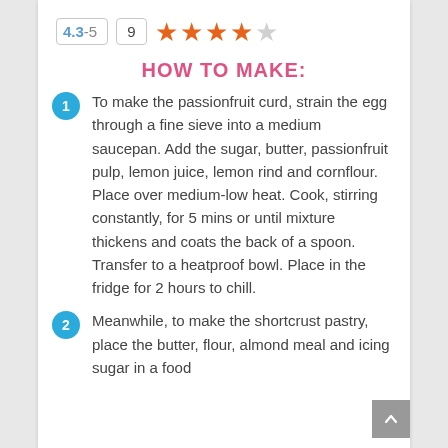4.3-5  9  ★★★★☆
HOW TO MAKE:
1. To make the passionfruit curd, strain the egg through a fine sieve into a medium saucepan. Add the sugar, butter, passionfruit pulp, lemon juice, lemon rind and cornflour. Place over medium-low heat. Cook, stirring constantly, for 5 mins or until mixture thickens and coats the back of a spoon. Transfer to a heatproof bowl. Place in the fridge for 2 hours to chill.
2. Meanwhile, to make the shortcrust pastry, place the butter, flour, almond meal and icing sugar in a food